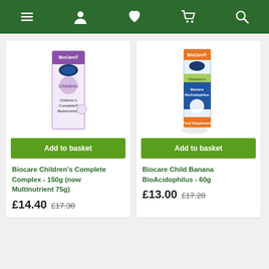Navigation bar with menu, account, wishlist, basket, search icons
[Figure (photo): BioCare Children's Complete Multinutrient product box, purple and white packaging]
Add to basket
Biocare Children's Complete Complex - 150g (now Multinutrient 75g)
£14.40  £17.30
[Figure (photo): BioCare Children's Banana BioAcidophilus product box, blue and orange packaging]
Add to basket
Biocare Child Banana BioAcidophilus - 60g
£13.00  £17.20